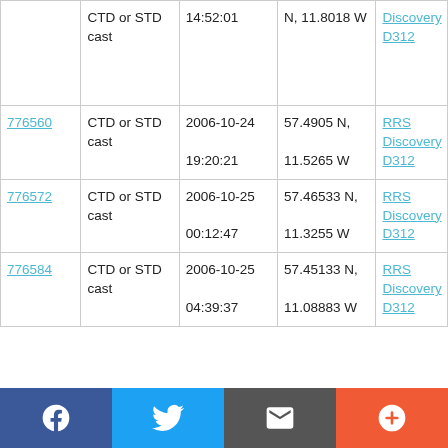| ID | Type | Date/Time | Location | Cruise |
| --- | --- | --- | --- | --- |
| (partial) | CTD or STD cast | 2006-10-24 14:52:01 | N, 11.8018 W | RRS Discovery D312 |
| 776560 | CTD or STD cast | 2006-10-24 19:20:21 | 57.4905 N, 11.5265 W | RRS Discovery D312 |
| 776572 | CTD or STD cast | 2006-10-25 00:12:47 | 57.46533 N, 11.3255 W | RRS Discovery D312 |
| 776584 | CTD or STD cast | 2006-10-25 04:39:37 | 57.45133 N, 11.08883 W | RRS Discovery D312 |
f  Twitter  Email  +